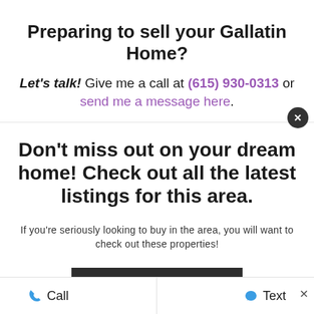Preparing to sell your Gallatin Home?
Let's talk! Give me a call at (615) 930-0313 or send me a message here.
Don't miss out on your dream home! Check out all the latest listings for this area.
If you're seriously looking to buy in the area, you will want to check out these properties!
Start Searching
Call   Text